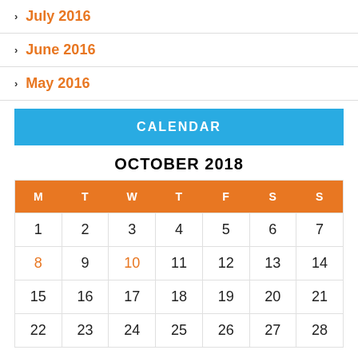July 2016
June 2016
May 2016
CALENDAR
OCTOBER 2018
| M | T | W | T | F | S | S |
| --- | --- | --- | --- | --- | --- | --- |
| 1 | 2 | 3 | 4 | 5 | 6 | 7 |
| 8 | 9 | 10 | 11 | 12 | 13 | 14 |
| 15 | 16 | 17 | 18 | 19 | 20 | 21 |
| 22 | 23 | 24 | 25 | 26 | 27 | 28 |